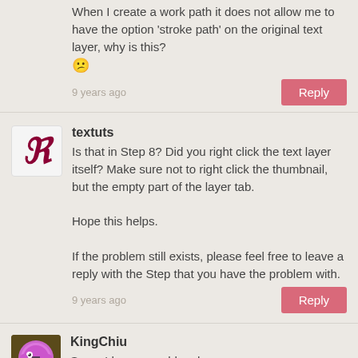When I create a work path it does not allow me to have the option 'stroke path' on the original text layer, why is this? 😕
9 years ago
textuts
Is that in Step 8? Did you right click the text layer itself? Make sure not to right click the thumbnail, but the empty part of the layer tab.

Hope this helps.

If the problem still exists, please feel free to leave a reply with the Step that you have the problem with.
9 years ago
KingChiu
Sorry, I have a problem here.
I can't add noise to the glittering text below the sticker, I